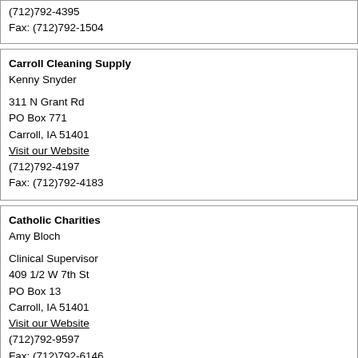(712)792-4395
Fax: (712)792-1504
Carroll Cleaning Supply
Kenny Snyder

311 N Grant Rd
PO Box 771
Carroll, IA 51401
Visit our Website
(712)792-4197
Fax: (712)792-4183
Catholic Charities
Amy Bloch

Clinical Supervisor
409 1/2 W 7th St
PO Box 13
Carroll, IA 51401
Visit our Website
(712)792-9597
Fax: (712)792-6146
Piranha Club
Travis Osterlund

1315 Plaza Drive